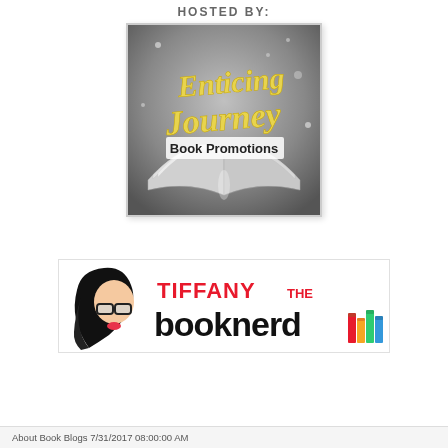HOSTED BY:
[Figure (logo): Enticing Journey Book Promotions logo — stylized script text 'Enticing Journey' in gold over a grayscale open book with sparkle background, with 'Book Promotions' in bold black text below]
[Figure (logo): Tiffany the Booknerd logo — cartoon girl with black hair and glasses, red text 'TIFFANY THE' and large black text 'booknerd' with colorful books stack icon]
About Book Blogs 7/31/2017 08:00:00 AM